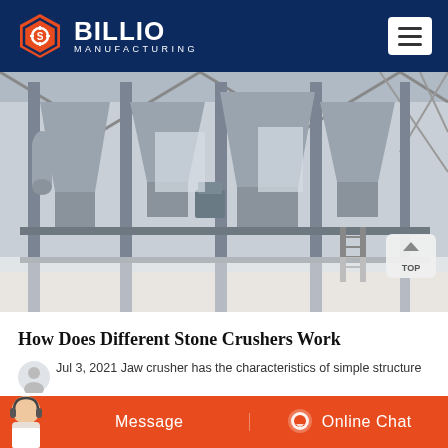BILLIO MANUFACTURING
[Figure (photo): Industrial stone crusher / manufacturing facility interior showing large hopper bins and steel framework structure inside a warehouse]
How Does Different Stone Crushers Work
Jul 3, 2021 Jaw crusher has the characteristics of simple structure
Cone Crusher. The cone crusher can be divided into three types coarse
Message | Online Chat